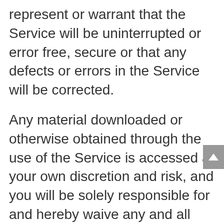represent or warrant that the Service will be uninterrupted or error free, secure or that any defects or errors in the Service will be corrected.
Any material downloaded or otherwise obtained through the use of the Service is accessed at your own discretion and risk, and you will be solely responsible for and hereby waive any and all claims and causes of action with respect to any damage to your device, computer system, internet access, download or display device, or loss or corruption of data that results or may result from the download of any such material. If you do not accept this limitation of liability, you are not authorized to download or obtain any material through the Service.